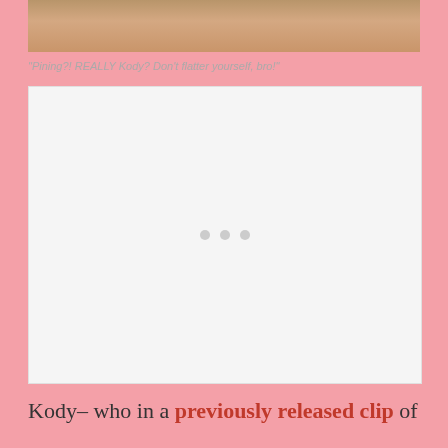[Figure (photo): Cropped photo of a person wearing a denim jacket, only the lower portion of the face and shoulders visible]
"Pining?! REALLY Kody? Don't flatter yourself, bro!"
[Figure (other): Advertisement placeholder with three grey loading dots]
Kody– who in a previously released clip of